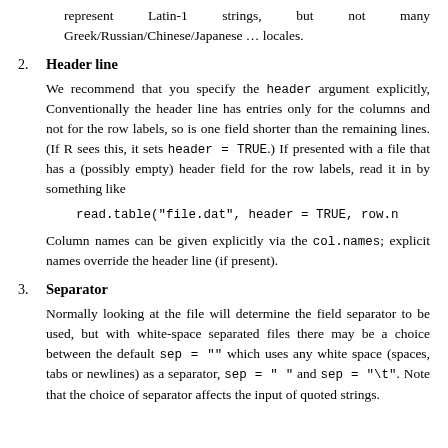represent Latin-1 strings, but not many Greek/Russian/Chinese/Japanese … locales.
2. Header line
We recommend that you specify the header argument explicitly, Conventionally the header line has entries only for the columns and not for the row labels, so is one field shorter than the remaining lines. (If R sees this, it sets header = TRUE.) If presented with a file that has a (possibly empty) header field for the row labels, read it in by something like

read.table("file.dat", header = TRUE, row.n

Column names can be given explicitly via the col.names; explicit names override the header line (if present).
3. Separator
Normally looking at the file will determine the field separator to be used, but with white-space separated files there may be a choice between the default sep = "" which uses any white space (spaces, tabs or newlines) as a separator, sep = " " and sep = "\t". Note that the choice of separator affects the input of quoted strings.